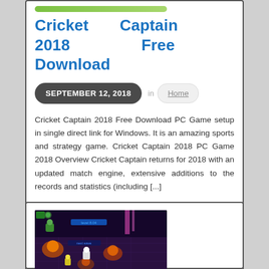[Figure (other): Green progress/download bar]
Cricket Captain 2018 Free Download
SEPTEMBER 12, 2018  in  Home
Cricket Captain 2018 Free Download PC Game setup in single direct link for Windows. It is an amazing sports and strategy game. Cricket Captain 2018 PC Game 2018 Overview Cricket Captain returns for 2018 with an updated match engine, extensive additions to the records and statistics (including [...])
[Figure (screenshot): Video game screenshot showing a top-down view of a dark fantasy/action game with characters and fire effects]